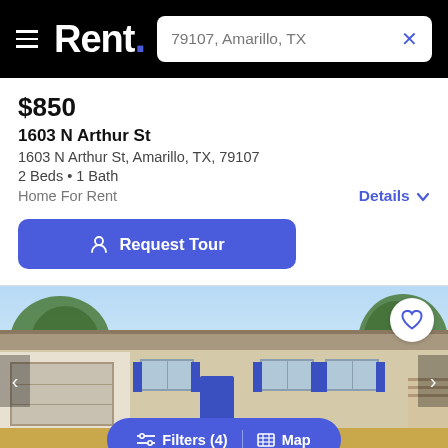Rent. — 79107, Amarillo, TX
$850
1603 N Arthur St
1603 N Arthur St, Amarillo, TX, 79107
2 Beds • 1 Bath
Home For Rent
Details
Request Tour
[Figure (photo): Front exterior photo of a single-story ranch-style home for rent at 1603 N Arthur St, Amarillo TX. The home has a beige/tan exterior with dark shutters, attached garage on the left, blue front door, trees in background, dry grass in front yard.]